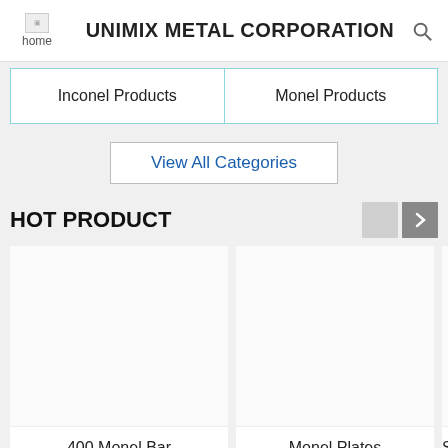UNIMIX METAL CORPORATION
Inconel Products
Monel Products
View All Categories
HOT PRODUCT
400 Monel Bar
Send Inquiry
Monel Plates
Send Inquiry
S